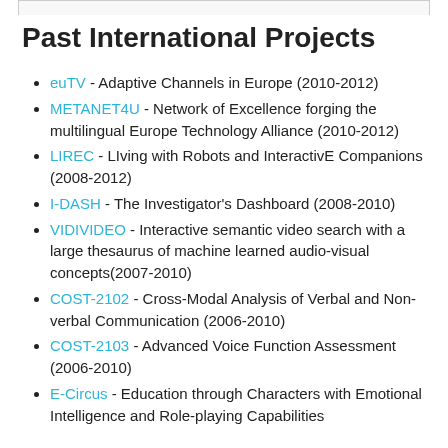Past International Projects
euTV - Adaptive Channels in Europe (2010-2012)
METANET4U - Network of Excellence forging the multilingual Europe Technology Alliance (2010-2012)
LIREC - LIving with Robots and InteractivE Companions (2008-2012)
I-DASH - The Investigator's Dashboard (2008-2010)
VIDIVIDEO - Interactive semantic video search with a large thesaurus of machine learned audio-visual concepts(2007-2010)
COST-2102 - Cross-Modal Analysis of Verbal and Non-verbal Communication (2006-2010)
COST-2103 - Advanced Voice Function Assessment (2006-2010)
E-Circus - Education through Characters with Emotional Intelligence and Role-playing Capabilities